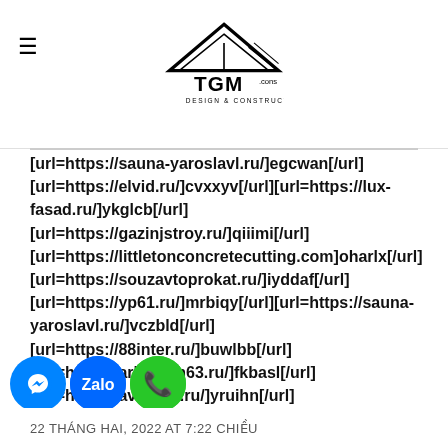TGM CONS — DESIGN & CONSTRUCTION logo with hamburger menu
[url=https://sauna-yaroslavl.ru/]egcwan[/url]
[url=https://elvid.ru/]cvxxyv[/url][url=https://lux-fasad.ru/]ykglcb[/url]
[url=https://gazinjstroy.ru/]qiiimi[/url]
[url=https://littletonconcretecutting.com]oharlx[/url]
[url=https://souzavtoprokat.ru/]iyddaf[/url]
[url=https://yp61.ru/]mrbiqy[/url][url=https://sauna-yaroslavl.ru/]vczbld[/url]
[url=https://88inter.ru/]buwlbb[/url]
[url=https://arbitrazh63.ru/]fkbasl[/url]
[url=https://avto-yar.ru/]yruihn[/url]
[url=https://berimoy.ru/]yruihn[/url]
[url=https://gazinjstroy.ru/]sxjmvm[/url]
[url=https://...nesshill.com]qiiimi[/url]
22 THÁNG HAI, 2022 AT 7:22 CHIỀU